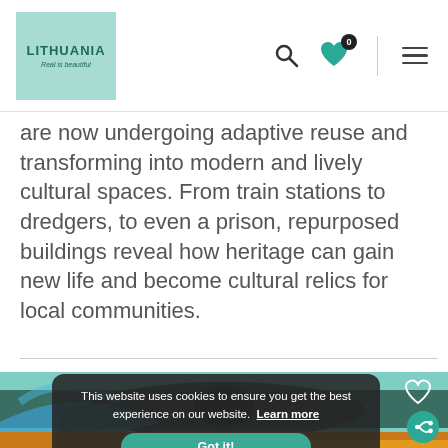LITHUANIA Real is beautiful
are now undergoing adaptive reuse and transforming into modern and lively cultural spaces. From train stations to dredgers, to even a prison, repurposed buildings reveal how heritage can gain new life and become cultural relics for local communities.
[Figure (photo): Colorful 3D street art mural viewed from above, showing blue, teal, orange and yellow paint on pavement with figures visible]
This website uses cookies to ensure you get the best experience on our website. Learn more Got it!